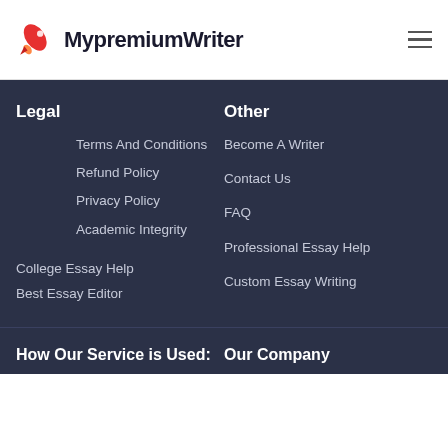[Figure (logo): MypremiumWriter logo with red rocket icon and bold black text]
Legal
Other
Terms And Conditions
Become A Writer
Refund Policy
Contact Us
Privacy Policy
FAQ
Academic Integrity
Professional Essay Help
College Essay Help
Custom Essay Writing
Best Essay Editor
How Our Service is Used:
Our Company